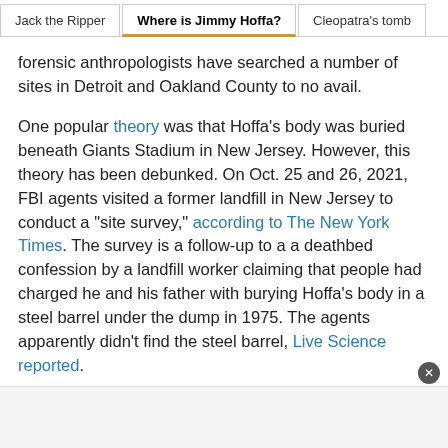Jack the Ripper | Where is Jimmy Hoffa? | Cleopatra's tomb
forensic anthropologists have searched a number of sites in Detroit and Oakland County to no avail.
One popular theory was that Hoffa's body was buried beneath Giants Stadium in New Jersey. However, this theory has been debunked. On Oct. 25 and 26, 2021, FBI agents visited a former landfill in New Jersey to conduct a "site survey," according to The New York Times. The survey is a follow-up to a a deathbed confession by a landfill worker claiming that people had charged he and his father with burying Hoffa's body in a steel barrel under the dump in 1975. The agents apparently didn't find the steel barrel, Live Science reported.